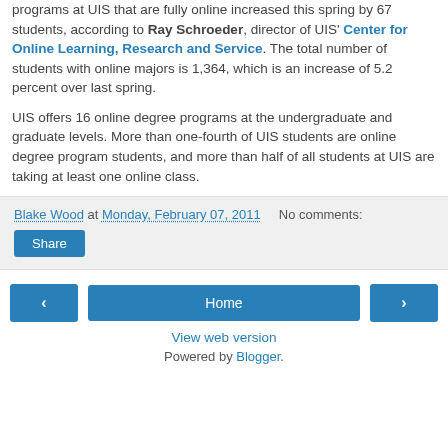programs at UIS that are fully online increased this spring by 67 students, according to Ray Schroeder, director of UIS' Center for Online Learning, Research and Service. The total number of students with online majors is 1,364, which is an increase of 5.2 percent over last spring.
UIS offers 16 online degree programs at the undergraduate and graduate levels. More than one-fourth of UIS students are online degree program students, and more than half of all students at UIS are taking at least one online class.
Blake Wood at Monday, February 07, 2011   No comments:
Share
Home
View web version
Powered by Blogger.